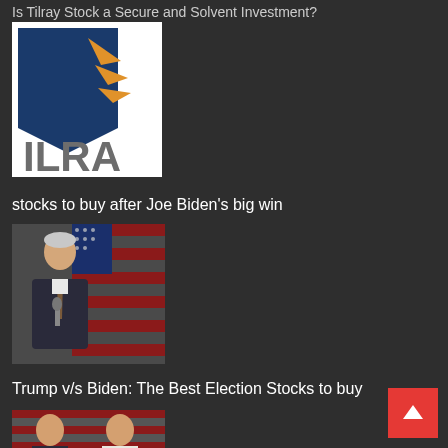Is Tilray Stock a Secure and Solvent Investment?
[Figure (logo): ILRA company logo — dark blue chevron shape with orange triangular rays, text 'ILRA' in gray below]
stocks to buy after Joe Biden's big win
[Figure (photo): Photo of Joe Biden in a dark suit holding a microphone, standing in front of an American flag]
Trump v/s Biden: The Best Election Stocks to buy
[Figure (photo): Partial photo related to Trump v/s Biden election article]